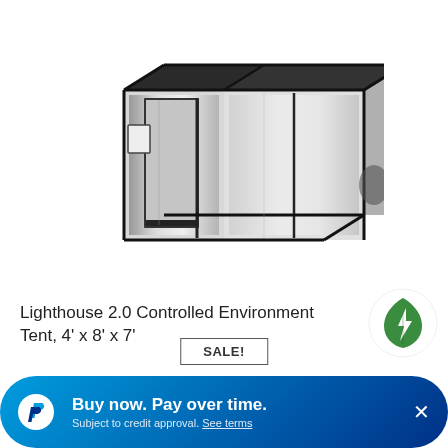[Figure (photo): Lighthouse 2.0 grow tent — large black-framed rectangular tent with silver reflective interior, doors open showing interior, photographed in 3/4 perspective]
Lighthouse 2.0 Controlled Environment Tent, 4' x 8' x 7'
SALE!
[Figure (logo): Green leaf with lightning bolt logo in white circle]
Buy now. Pay over time. Subject to credit approval. See terms